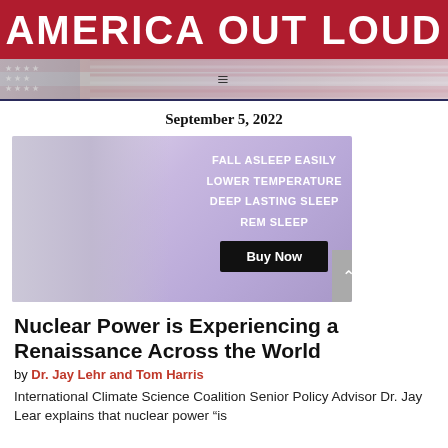AMERICA OUT LOUD
[Figure (other): Navigation bar with hamburger menu icon over a US flag background]
September 5, 2022
[Figure (other): Sleep product advertisement showing a woman sleeping with text: FALL ASLEEP EASILY, LOWER TEMPERATURE, DEEP LASTING SLEEP, REM SLEEP, and a Buy Now button]
Nuclear Power is Experiencing a Renaissance Across the World
by Dr. Jay Lehr and Tom Harris
International Climate Science Coalition Senior Policy Advisor Dr. Jay Lear explains that nuclear power "is